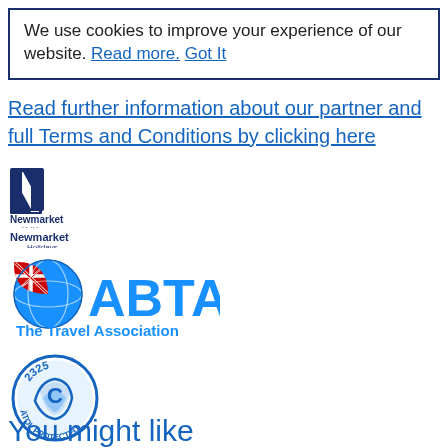We use cookies to improve your experience of our website. Read more. Got It
Read further information about our partner and full Terms and Conditions by clicking here
[Figure (logo): Newmarket Holidays logo — dark blue N icon with 'Newmarket Holidays' text]
[Figure (logo): ABTA The Travel Association logo — blue globe with UK flag quarter and blue ABTA text]
[Figure (logo): ATOL Protected 2325 circular badge — blue circular stamp]
You might like